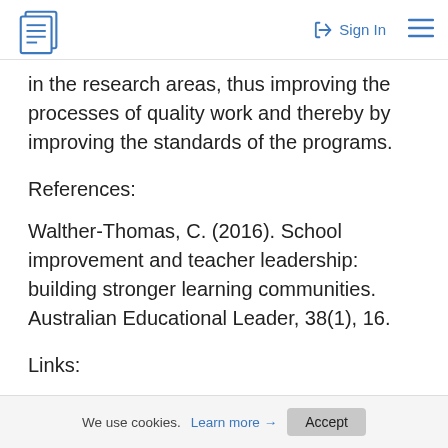Sign In
in the research areas, thus improving the processes of quality work and thereby by improving the standards of the programs.
References:
Walther-Thomas, C. (2016). School improvement and teacher leadership: building stronger learning communities. Australian Educational Leader, 38(1), 16.
Links:
www.education.vic.gov.au
We use cookies. Learn more → Accept